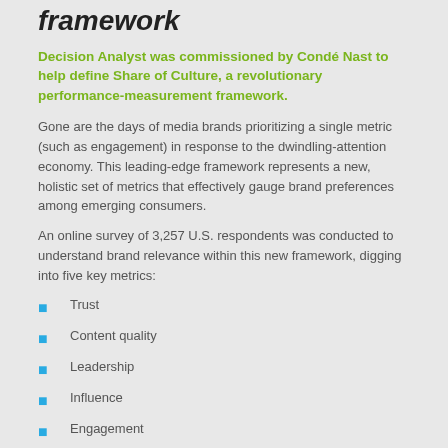framework
Decision Analyst was commissioned by Condé Nast to help define Share of Culture, a revolutionary performance-measurement framework.
Gone are the days of media brands prioritizing a single metric (such as engagement) in response to the dwindling-attention economy. This leading-edge framework represents a new, holistic set of metrics that effectively gauge brand preferences among emerging consumers.
An online survey of 3,257 U.S. respondents was conducted to understand brand relevance within this new framework, digging into five key metrics:
Trust
Content quality
Leadership
Influence
Engagement